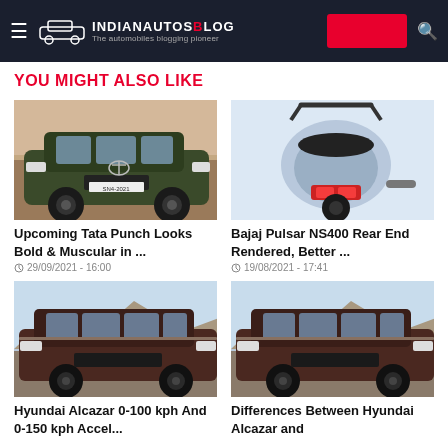IndianAutosBlog - The automobiles blogging pioneer
YOU MIGHT ALSO LIKE
[Figure (photo): Upcoming Tata Punch SUV in dark green color, front 3/4 view]
Upcoming Tata Punch Looks Bold & Muscular in ...
29/09/2021 - 16:00
[Figure (photo): Bajaj Pulsar NS400 motorcycle rear end render]
Bajaj Pulsar NS400 Rear End Rendered, Better ...
19/08/2021 - 17:41
[Figure (photo): Hyundai Alcazar dark maroon SUV side profile]
Hyundai Alcazar 0-100 kph And 0-150 kph Accel...
[Figure (photo): Hyundai Alcazar dark maroon SUV side profile second image]
Differences Between Hyundai Alcazar and